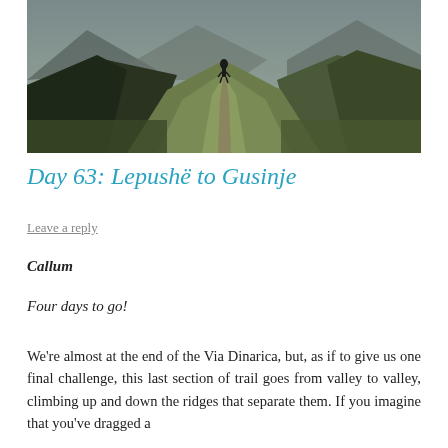[Figure (photo): A hiker walking along a narrow mountain ridge trail with green grass on either side; mountains visible in the background under an overcast sky.]
Day 63: Lepushë to Gusinje
Leave a reply
Callum
Four days to go!
We're almost at the end of the Via Dinarica, but, as if to give us one final challenge, this last section of trail goes from valley to valley, climbing up and down the ridges that separate them. If you imagine that you've dragged a